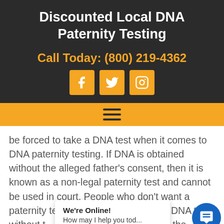Discounted Local DNA Paternity Testing
Call Today: (800) 219-4362
[Figure (other): Social media icons: Facebook, Twitter, Instagram in orange square buttons]
[Figure (other): Orange navigation bar with hamburger menu icon]
be forced to take a DNA test when it comes to DNA paternity testing. If DNA is obtained without the alleged father's consent, then it is known as a non-legal paternity test and cannot be used in court. People who don't want a paternity test for court [can still get a] DNA test without t[he consent of] th[e other party.] While the supposed father has the right
We're Online!
How may I help you tod...